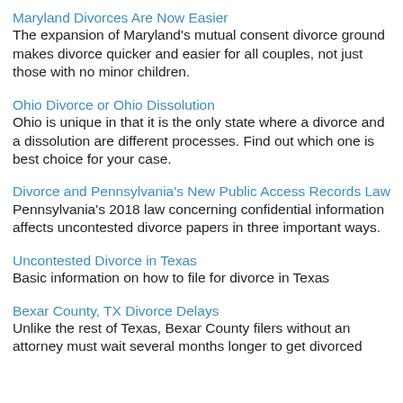Maryland Divorces Are Now Easier
The expansion of Maryland's mutual consent divorce ground makes divorce quicker and easier for all couples, not just those with no minor children.
Ohio Divorce or Ohio Dissolution
Ohio is unique in that it is the only state where a divorce and a dissolution are different processes. Find out which one is best choice for your case.
Divorce and Pennsylvania's New Public Access Records Law
Pennsylvania's 2018 law concerning confidential information affects uncontested divorce papers in three important ways.
Uncontested Divorce in Texas
Basic information on how to file for divorce in Texas
Bexar County, TX Divorce Delays
Unlike the rest of Texas, Bexar County filers without an attorney must wait several months longer to get divorced